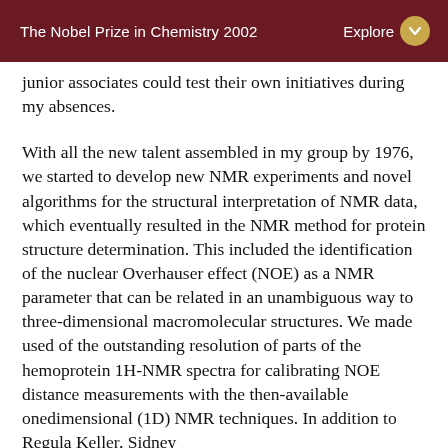The Nobel Prize in Chemistry 2002   Explore
junior associates could test their own initiatives during my absences.
With all the new talent assembled in my group by 1976, we started to develop new NMR experiments and novel algorithms for the structural interpretation of NMR data, which eventually resulted in the NMR method for protein structure determination. This included the identification of the nuclear Overhauser effect (NOE) as a NMR parameter that can be related in an unambiguous way to three-dimensional macromolecular structures. We made used of the outstanding resolution of parts of the hemoprotein 1H-NMR spectra for calibrating NOE distance measurements with the then-available onedimensional (1D) NMR techniques. In addition to Regula Keller, Sidney